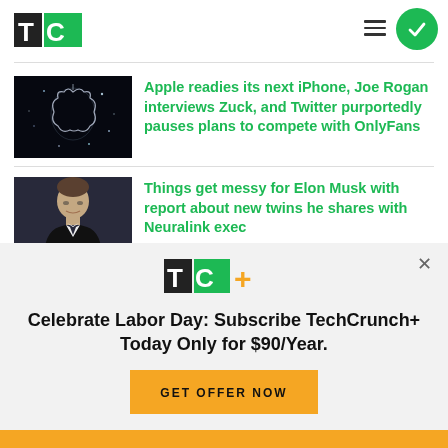TechCrunch
[Figure (photo): Apple logo glowing in dark, starry/sparkle background]
Apple readies its next iPhone, Joe Rogan interviews Zuck, and Twitter purportedly pauses plans to compete with OnlyFans
[Figure (photo): Elon Musk in black and white tuxedo at formal event]
Things get messy for Elon Musk with report about new twins he shares with Neuralink exec
Celebrate Labor Day: Subscribe TechCrunch+ Today Only for $90/Year.
GET OFFER NOW